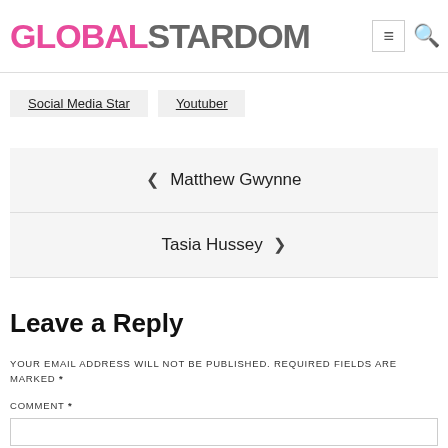GLOBALSTARDOM
Social Media Star
Youtuber
‹ Matthew Gwynne
Tasia Hussey ›
Leave a Reply
YOUR EMAIL ADDRESS WILL NOT BE PUBLISHED. REQUIRED FIELDS ARE MARKED *
COMMENT *